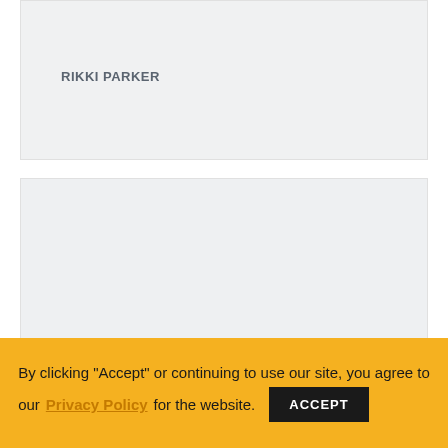need...
RIKKI PARKER
By clicking "Accept" or continuing to use our site, you agree to our Privacy Policy for the website.